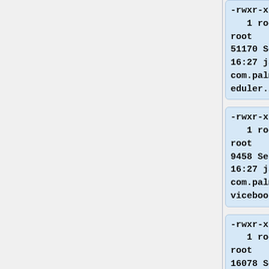-rwxr-xr-x
   1 root
root
51170 Sep 28
16:27 java-
com.palm.sch
eduler.ipk
-rwxr-xr-x
   1 root
root
9458 Sep 28
16:27 java-
com.palm.ser
viceboot.ipk
-rwxr-xr-x
   1 root
root
16078 Sep 28
16:27 java-
com.palm.tas
ks.ipk